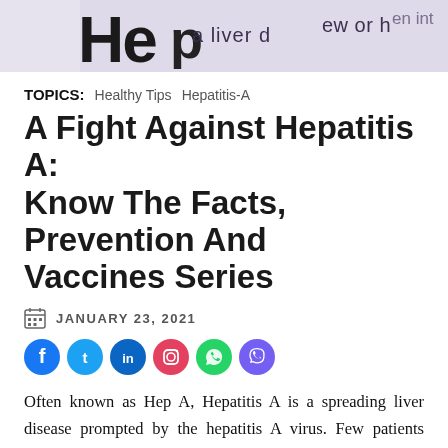[Figure (photo): Close-up photo of text related to Hepatitis, liver information, partially visible words 'Hep', 'liver', 'ew or', 'en int']
TOPICS: Healthy Tips  Hepatitis-A
A Fight Against Hepatitis A: Know The Facts, Prevention And Vaccines Series
JANUARY 23, 2021
[Figure (infographic): Social media sharing icons: Facebook (blue), Twitter (light blue), LinkedIn (dark blue), Instagram (red/orange), WhatsApp (green), Viber (purple)]
Often known as Hep A, Hepatitis A is a spreading liver disease prompted by the hepatitis A virus. Few patients suffer only from a moderate sickness that continues for a few weeks. While some patients have more critical health issues that can last months. You normally get the